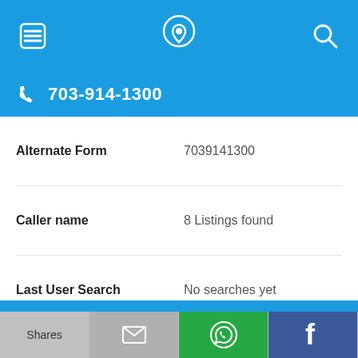[Figure (screenshot): Mobile app top navigation bar with hamburger menu, phone/location icon, and search icon on blue background]
703-914-1300
| Field | Value |
| --- | --- |
| Alternate Form | 7039141300 |
| Caller name | 8 Listings found |
| Last User Search | No searches yet |
| Comments |  |
703-914-1555
Shares | [email icon] | [WhatsApp icon] | [Facebook icon]